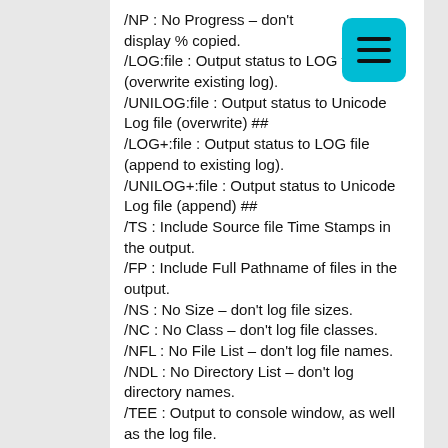/NP : No Progress – don't display % copied.
/LOG:file : Output status to LOG file (overwrite existing log).
/UNILOG:file : Output status to Unicode Log file (overwrite) ##
/LOG+:file : Output status to LOG file (append to existing log).
/UNILOG+:file : Output status to Unicode Log file (append) ##
/TS : Include Source file Time Stamps in the output.
/FP : Include Full Pathname of files in the output.
/NS : No Size – don't log file sizes.
/NC : No Class – don't log file classes.
/NFL : No File List – don't log file names.
/NDL : No Directory List – don't log directory names.
/TEE : Output to console window, as well as the log file.
/NJH : No Job Header.
/NJS : No Job Summary.
Repeated Copy Options
/MON:n : MONitor source; run again when more than n